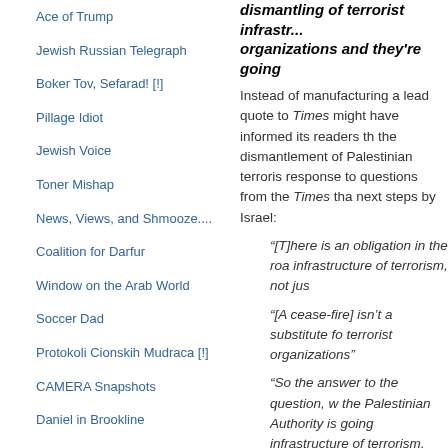Ace of Trump
Jewish Russian Telegraph
Boker Tov, Sefarad! [!]
Pillage Idiot
Jewish Voice
Toner Mishap
News, Views, and Shmooze....
Coalition for Darfur
Window on the Arab World
Soccer Dad
Protokoli Cionskih Mudraca [!]
CAMERA Snapshots
Daniel in Brookline
yiddishe-kop
Dare To Inquire
Transatlantic Forum
Modern Orthodox Woman
Pajamas Media
dismantling of terrorist infrastructure organizations and they're going
Instead of manufacturing a lead quote to Times might have informed its readers th the dismantlement of Palestinian terroris response to questions from the Times tha next steps by Israel:
“[T]here is an obligation in the roa infrastructure of terrorism, not jus
“[A cease-fire] isn’t a substitute fo terrorist organizations”
“So the answer to the question, w the Palestinian Authority is going infrastructure of terrorism, that’s o
“[T]he obligation of the Palestinian dismantling of terrorist infrastructu and they’re going to have to do it.
That would have been news that was fit
Posted by Jpundit | Permalink
DIGG THIS | SAVE TO DEL.ICIO.US